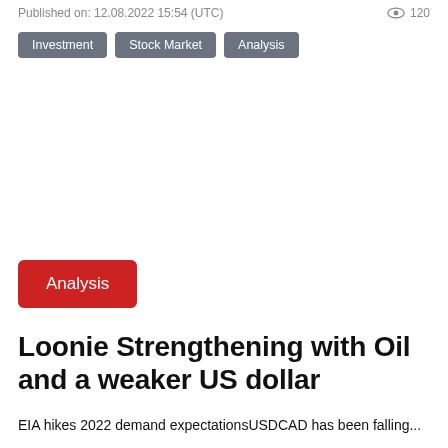Published on: 12.08.2022 15:54 (UTC)  120
Investment
Stock Market
Analysis
Analysis
Loonie Strengthening with Oil and a weaker US dollar
EIA hikes 2022 demand expectationsUSDCAD has been falling...